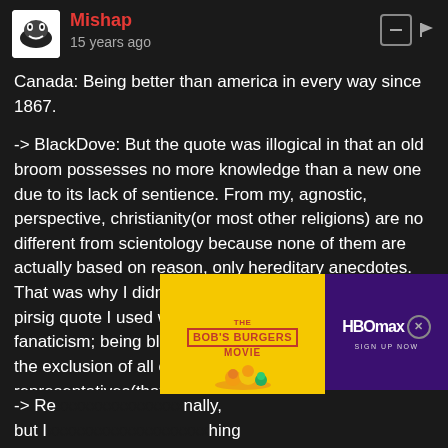Mishap
15 years ago
Canada: Being better than america in every way since 1867.
-> BlackDove: But the quote was illogical in that an old broom possesses no more knowledge than a new one due to its lack of sentience. From my, agnostic, perspective, christianity(or most other religions) are no different from scientology because none of them are actually based on reason, only hereditary anecdotes. That was why I didn't think much of the quote. The pirsig quote I used was not about struggle, but fanaticism; being blindly obsessed with something at the exclusion of all else. Most religious representatives(that I can find any common ground with) would tell you that this is not the way y
[Figure (screenshot): Advertisement: Bob's Burgers Movie (yellow background with cartoon characters) and HBO Max sign up now (purple background)]
-> Re[...] nally, but I [...]hing thi[...]